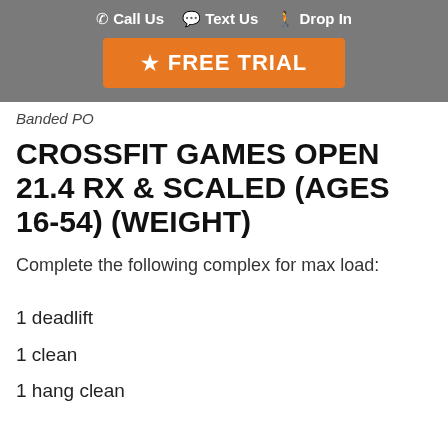Call Us  Text Us  Drop In  FREE TRIAL
Banded PO
CROSSFIT GAMES OPEN 21.4 RX & SCALED (AGES 16-54) (WEIGHT)
Complete the following complex for max load:
1 deadlift
1 clean
1 hang clean